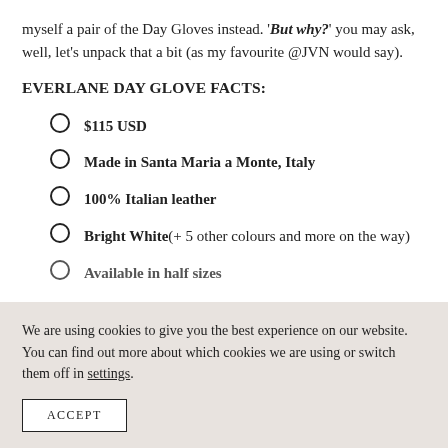myself a pair of the Day Gloves instead. 'But why?' you may ask, well, let's unpack that a bit (as my favourite @JVN would say).
EVERLANE DAY GLOVE FACTS:
$115 USD
Made in Santa Maria a Monte, Italy
100% Italian leather
Bright White (+ 5 other colours and more on the way)
Available in half sizes
We are using cookies to give you the best experience on our website. You can find out more about which cookies we are using or switch them off in settings.
ACCEPT